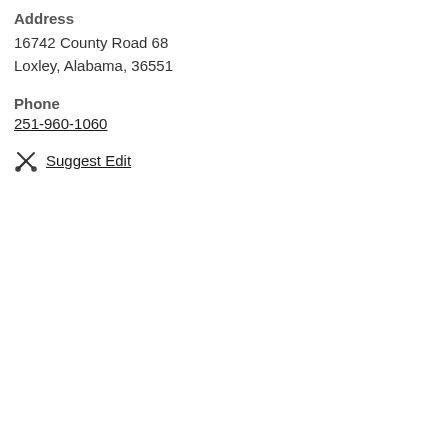Address
16742 County Road 68
Loxley, Alabama, 36551
Phone
251-960-1060
Suggest Edit